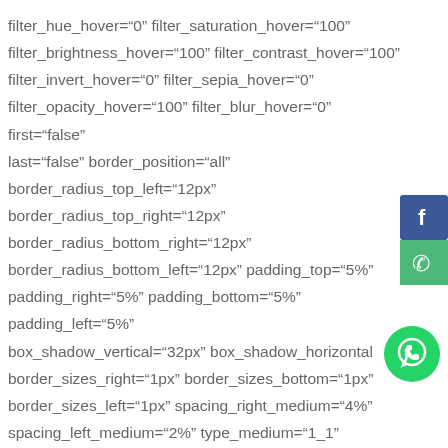filter_hue_hover="0" filter_saturation_hover="100" filter_brightness_hover="100" filter_contrast_hover="100" filter_invert_hover="0" filter_sepia_hover="0" filter_opacity_hover="100" filter_blur_hover="0" first="false" last="false" border_position="all" border_radius_top_left="12px" border_radius_top_right="12px" border_radius_bottom_right="12px" border_radius_bottom_left="12px" padding_top="5%" padding_right="5%" padding_bottom="5%" padding_left="5%" box_shadow_vertical="32px" box_shadow_horizontal= border_sizes_right="1px" border_sizes_bottom="1px" border_sizes_left="1px" spacing_right_medium="4%" spacing_left_medium="2%" type_medium="1_1"
[Figure (illustration): Facebook button (blue square with f icon), phone button (green square with phone icon), and WhatsApp floating button (green circle with WhatsApp chat icon) on the right side of the page]